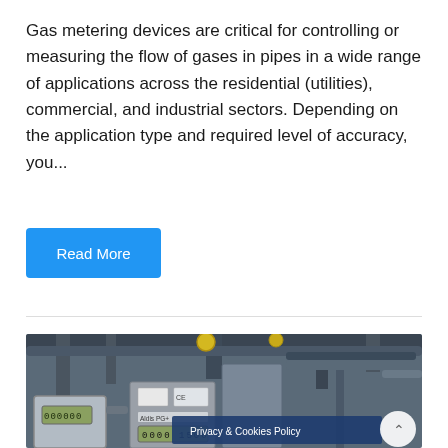Gas metering devices are critical for controlling or measuring the flow of gases in pipes in a wide range of applications across the residential (utilities), commercial, and industrial sectors. Depending on the application type and required level of accuracy, you...
Read More
[Figure (photo): Photograph of industrial gas metering equipment showing multiple gas meters with digital displays, pipes, and valves in a close-up view]
Privacy & Cookies Policy